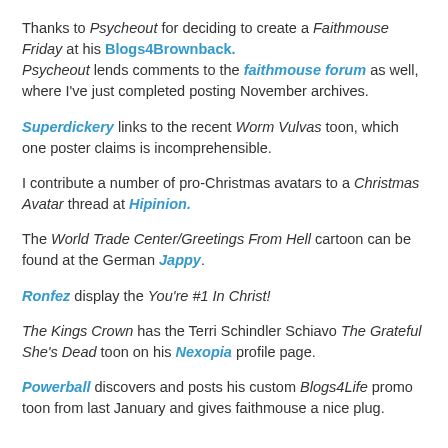Thanks to Psycheout for deciding to create a Faithmouse Friday at his Blogs4Brownback. Psycheout lends comments to the faithmouse forum as well, where I've just completed posting November archives.
Superdickery links to the recent Worm Vulvas toon, which one poster claims is incomprehensible.
I contribute a number of pro-Christmas avatars to a Christmas Avatar thread at Hipinion.
The World Trade Center/Greetings From Hell cartoon can be found at the German Jappy.
Ronfez display the You're #1 In Christ!
The Kings Crown has the Terri Schindler Schiavo The Grateful She's Dead toon on his Nexopia profile page.
Powerball discovers and posts his custom Blogs4Life promo toon from last January and gives faithmouse a nice plug.